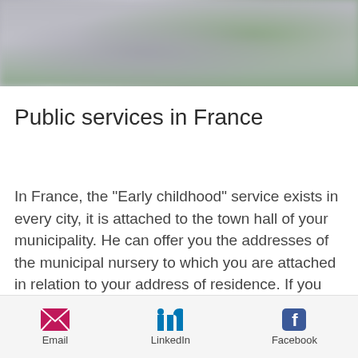[Figure (photo): Blurred photograph of people, partial view at top of page]
Public services in France
In France, the "Early childhood" service exists in every city, it is attached to the town hall of your municipality. He can offer you the addresses of the municipal nursery to which you are attached in relation to your address of residence. If you are looking for a maternal assistant, this service will also
Email  LinkedIn  Facebook